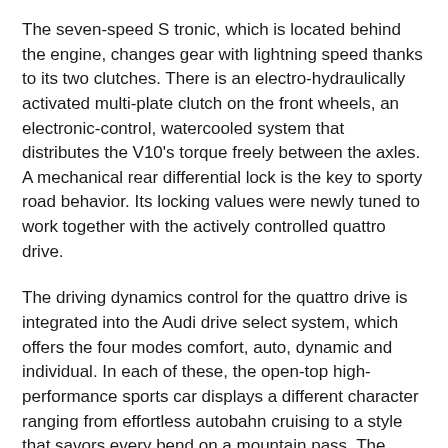The seven-speed S tronic, which is located behind the engine, changes gear with lightning speed thanks to its two clutches. There is an electro-hydraulically activated multi-plate clutch on the front wheels, an electronic-control, watercooled system that distributes the V10's torque freely between the axles. A mechanical rear differential lock is the key to sporty road behavior. Its locking values were newly tuned to work together with the actively controlled quattro drive.
The driving dynamics control for the quattro drive is integrated into the Audi drive select system, which offers the four modes comfort, auto, dynamic and individual. In each of these, the open-top high-performance sports car displays a different character ranging from effortless autobahn cruising to a style that savors every bend on a mountain pass. The system also draws on the accelerator characteristic, the steering, the S tronic, the exhaust flap control function and the optional adaptive damping system Audi magnetic ride.